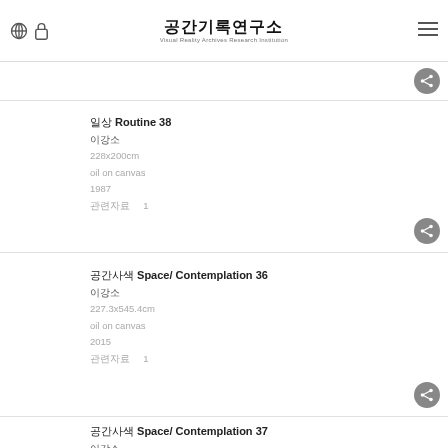공간기록연구소 Visual Reality Archives Research Institution
일상 Routine 38
이강소
228x200cm
oil on canvas
1987
관련자료 1
공간사색 Space/ Contemplation 36
이강소
227.3x545.4cm
oil on canvas
2015
관련자료 1
공간사색 Space/ Contemplation 37
이강소
218.2x291cm